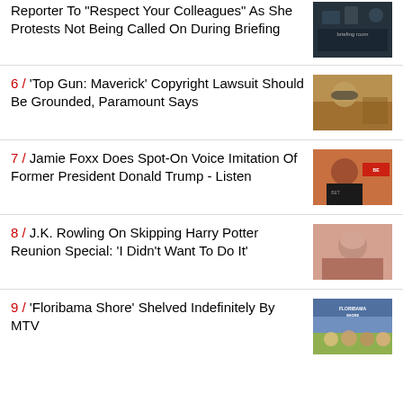White House Press Secretary Tells Reporter To "Respect Your Colleagues" As She Protests Not Being Called On During Briefing
[Figure (photo): White House press briefing room with people seated]
6 / 'Top Gun: Maverick' Copyright Lawsuit Should Be Grounded, Paramount Says
[Figure (photo): Actor in sunglasses and flight gear from Top Gun Maverick]
7 / Jamie Foxx Does Spot-On Voice Imitation Of Former President Donald Trump - Listen
[Figure (photo): Jamie Foxx in tuxedo at BET event]
8 / J.K. Rowling On Skipping Harry Potter Reunion Special: 'I Didn't Want To Do It'
[Figure (photo): J.K. Rowling headshot]
9 / 'Floribama Shore' Shelved Indefinitely By MTV
[Figure (photo): Floribama Shore cast promotional image]